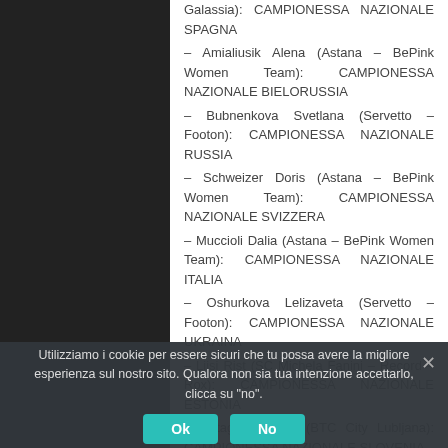Galassia): CAMPIONESSA NAZIONALE SPAGNA
– Amialiusik Alena (Astana – BePink Women Team): CAMPIONESSA NAZIONALE BIELORUSSIA
– Bubnenkova Svetlana (Servetto – Footon): CAMPIONESSA NAZIONALE RUSSIA
– Schweizer Doris (Astana – BePink Women Team): CAMPIONESSA NAZIONALE SVIZZERA
– Muccioli Dalia (Astana – BePink Women Team): CAMPIONESSA NAZIONALE ITALIA
– Oshurkova Lelizaveta (Servetto – Footon): CAMPIONESSA NAZIONALE UKRAINA
– Liisi Rist (SC Michela Fanini – Record – Rox): CAMPIONESSA NAZIONALE ESTONIA
– Batagelj Polona (BTC City Lubljana): CAMPIONESSA NAZIONALE SLOVENIA
Utilizziamo i cookie per essere sicuri che tu possa avere la migliore esperienza sul nostro sito. Qualora non sia tua intenzione accettarlo, clicca su "no".